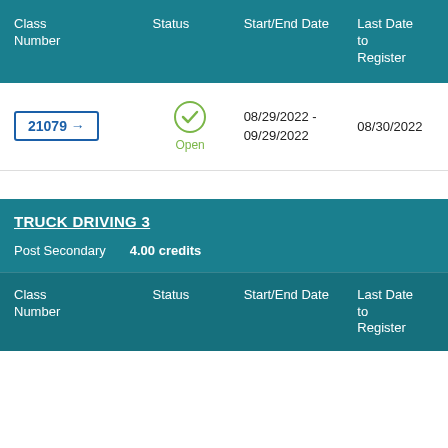| Class Number | Status | Start/End Date | Last Date to Register |
| --- | --- | --- | --- |
| 21079 → | Open | 08/29/2022 - 09/29/2022 | 08/30/2022 |
TRUCK DRIVING 3
Post Secondary   4.00 credits
| Class Number | Status | Start/End Date | Last Date to Register |
| --- | --- | --- | --- |